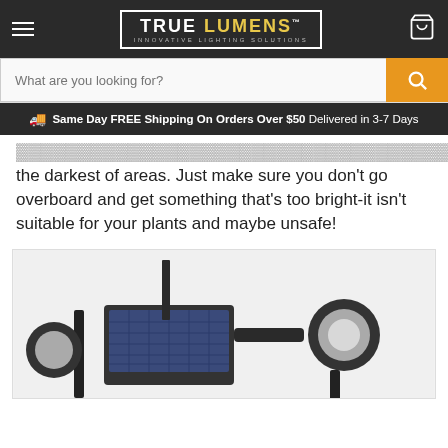TRUE LUMENS™ INNOVATIVE LIGHTING SOLUTIONS
What are you looking for?
Same Day FREE Shipping On Orders Over $50 Delivered in 3-7 Days
the darkest of areas. Just make sure you don't go overboard and get something that's too bright-it isn't suitable for your plants and maybe unsafe!
[Figure (photo): Solar-powered outdoor spotlight product photo showing a dark-colored solar panel unit with stake and spotlights on a white background]